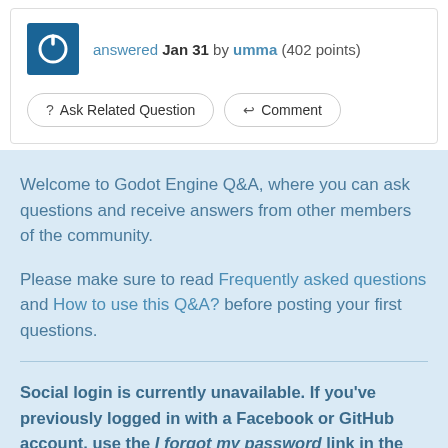answered Jan 31 by umma (402 points)
? Ask Related Question   ↩ Comment
Welcome to Godot Engine Q&A, where you can ask questions and receive answers from other members of the community.
Please make sure to read Frequently asked questions and How to use this Q&A? before posting your first questions.
Social login is currently unavailable. If you've previously logged in with a Facebook or GitHub account, use the I forgot my password link in the login box to set a password for your account. If you still can't access your account, send an email to webmaster@godotengine.org with your username